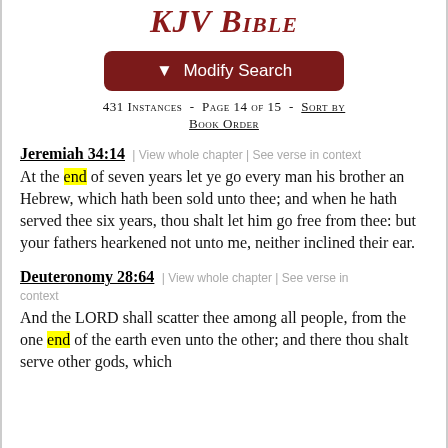KJV Bible
▼ Modify Search
431 Instances  -  Page 14 of 15  -  Sort by Book Order
Jeremiah 34:14 | View whole chapter | See verse in context
At the end of seven years let ye go every man his brother an Hebrew, which hath been sold unto thee; and when he hath served thee six years, thou shalt let him go free from thee: but your fathers hearkened not unto me, neither inclined their ear.
Deuteronomy 28:64 | View whole chapter | See verse in context
And the LORD shall scatter thee among all people, from the one end of the earth even unto the other; and there thou shalt serve other gods, which